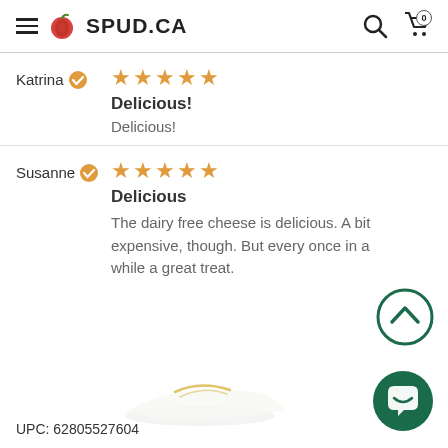SPUD.CA
Katrina — 5 stars — Delicious! — Delicious!
Susanne — 5 stars — Delicious — The dairy free cheese is delicious. A bit expensive, though. But every once in a while a great treat.
UPC: 62805527604
[Figure (illustration): Partial product image showing a food package at the bottom of the page]